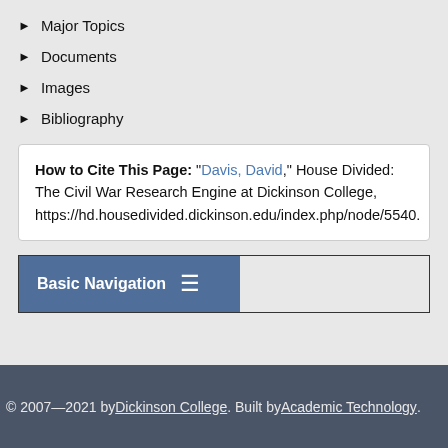▶ Major Topics
▶ Documents
▶ Images
▶ Bibliography
How to Cite This Page: "Davis, David," House Divided: The Civil War Research Engine at Dickinson College, https://hd.housedivided.dickinson.edu/index.php/node/5540.
Basic Navigation ≡
© 2007—2021 by Dickinson College. Built by Academic Technology.